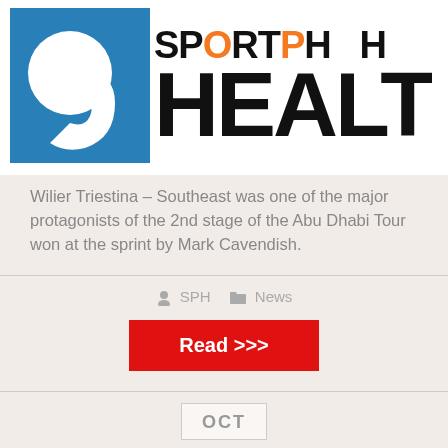[Figure (logo): SportPH Health logo with blue circle icon and large bold text reading HEALT (cropped), with orange accent letters]
Wilier Triestina – Southeast was one of the major protagonists of the 2nd stage of the Abu Dhabi Tour won at the sprint by Mark Cavendish.
SPH   News
Read >>>
OCT